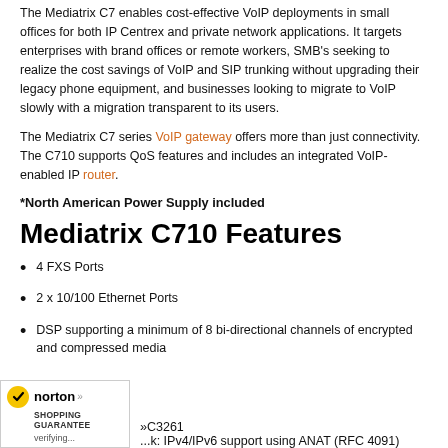The Mediatrix C7 enables cost-effective VoIP deployments in small offices for both IP Centrex and private network applications. It targets enterprises with brand offices or remote workers, SMB's seeking to realize the cost savings of VoIP and SIP trunking without upgrading their legacy phone equipment, and businesses looking to migrate to VoIP slowly with a migration transparent to its users.
The Mediatrix C7 series VoIP gateway offers more than just connectivity. The C710 supports QoS features and includes an integrated VoIP-enabled IP router.
*North American Power Supply included
Mediatrix C710 Features
4 FXS Ports
2 x 10/100 Ethernet Ports
DSP supporting a minimum of 8 bi-directional channels of encrypted and compressed media
[Figure (logo): Norton Shopping Guarantee badge with yellow checkmark]
»C3261
...k: IPv4/IPv6 support using ANAT (RFC 4091)